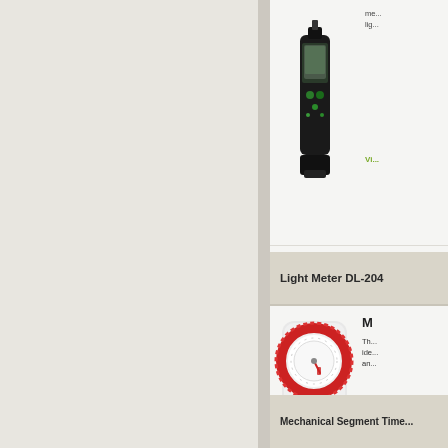[Figure (photo): Light meter device DL-204, black handheld device with display and buttons, partially visible at top]
me... lig...
Vi...
Light Meter DL-204
[Figure (photo): Mechanical segment timer, white circular dial timer plug with red segment ring and outlet, shown as product photo]
M... Th... ide... an...
Vi...
Mechanical Segment Time...